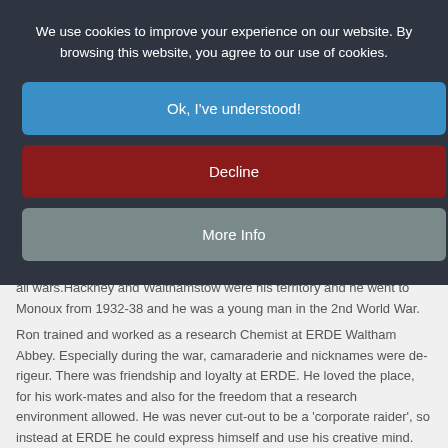We use cookies to improve your experience on our website. By browsing this website, you agree to our use of cookies.
Ok, I've understood!
Decline
More Info
all wars.Hackney and Walthamstow were his territory and he went to Monoux from 1932-38 and he was a young man in the 2nd World War.
Ron trained and worked as a research Chemist at ERDE Waltham Abbey.  Especially during the war, camaraderie and nicknames were de-rigeur.  There was friendship and loyalty at ERDE.  He loved the place, for his work-mates and also for the freedom that a research environment allowed.  He was never cut-out to be a 'corporate raider', so instead at ERDE he could express himself and use his creative mind.
His social life was spent in the outdoors, on bikes and walking, and that is how he met his wife, Edna.  Together they raised their 3